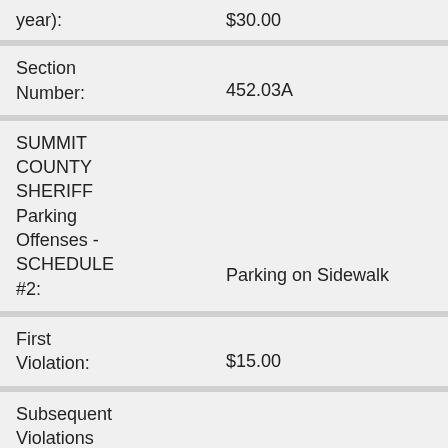year): $30.00
Section Number: 452.03A
SUMMIT COUNTY SHERIFF Parking Offenses - SCHEDULE #2: Parking on Sidewalk
First Violation: $15.00
Subsequent Violations (within 1 year): $30.00
Section